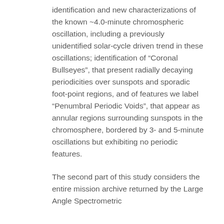identification and new characterizations of the known ~4.0-minute chromospheric oscillation, including a previously unidentified solar-cycle driven trend in these oscillations; identification of “Coronal Bullseyes”, that present radially decaying periodicities over sunspots and sporadic foot-point regions, and of features we label “Penumbral Periodic Voids”, that appear as annular regions surrounding sunspots in the chromosphere, bordered by 3- and 5-minute oscillations but exhibiting no periodic features.
The second part of this study considers the entire mission archive returned by the Large Angle Spectrometric